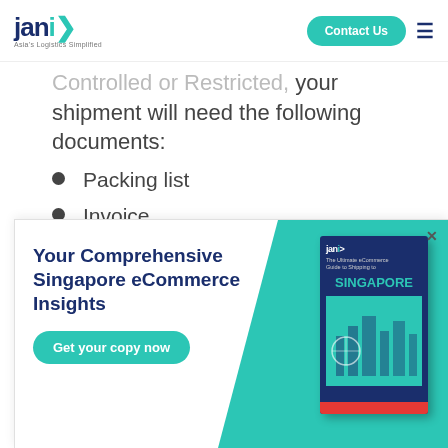janio — Asia's Logistics Simplified | Contact Us
Controlled or Restricted, your shipment will need the following documents:
Packing list
Invoice
Airway Bill
Import Permit
[Figure (infographic): Advertisement overlay for Janio Singapore eCommerce guide. White card with teal geometric background. Headline: 'Your Comprehensive Singapore eCommerce Insights'. Button: 'Get your copy now'. Book cover image on the right side showing 'SINGAPORE' guide.]